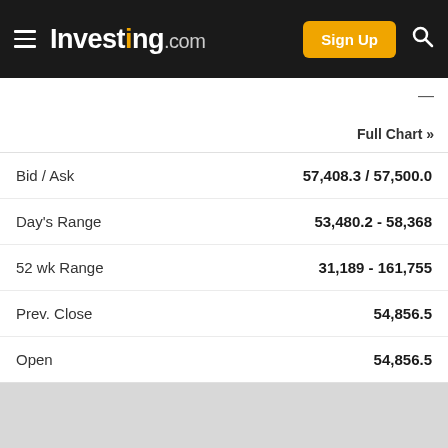Investing.com — Sign Up
| Label | Value |
| --- | --- |
| Bid / Ask | 57,408.3 / 57,500.0 |
| Day's Range | 53,480.2 - 58,368 |
| 52 wk Range | 31,189 - 161,755 |
| Prev. Close | 54,856.5 |
| Open | 54,856.5 |